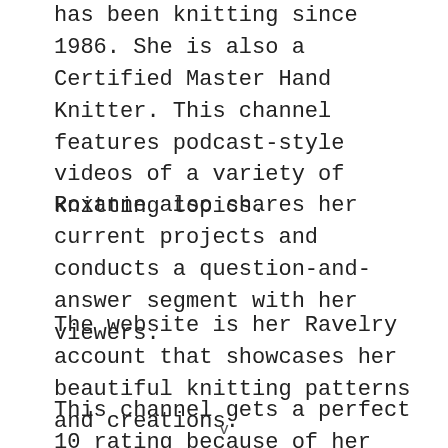has been knitting since 1986. She is also a Certified Master Hand Knitter. This channel features podcast-style videos of a variety of knitting topics.
Roxanne also shares her current projects and conducts a question-and-answer segment with her viewers.
The website is her Ravelry account that showcases her beautiful knitting patterns and creations.
This channel gets a perfect 10 rating because of her detailed video tutorials and a variety of topics. Both
v